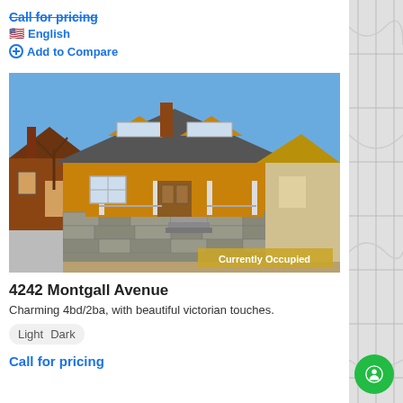Call for pricing
🇺🇸 English
Add to Compare
[Figure (photo): Exterior photo of a charming 4-bedroom 2-bathroom Victorian-style house with orange/ochre stucco siding, gray stone foundation, craftsman-style dormer windows, and covered front porch. Blue sky background. Neighboring houses visible on both sides. A badge reading 'Currently Occupied' appears in the lower right of the photo.]
4242 Montgall Avenue
Charming 4bd/2ba, with beautiful victorian touches.
Light   Dark
Call for pricing